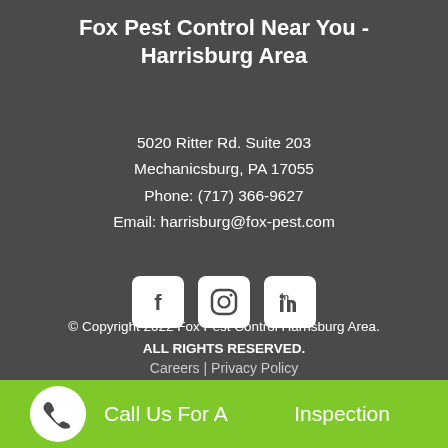Fox Pest Control Near You - Harrisburg Area
5020 Ritter Rd. Suite 203
Mechanicsburg, PA 17055
Phone: (717) 366-9627
Email: harrisburg@fox-pest.com
[Figure (other): Social media icons: Facebook, Instagram, LinkedIn]
© Copyright 2022 Fox Pest Control Harrisburg Area. ALL RIGHTS RESERVED.
Careers | Privacy Policy
Call Us For A FREE Inspection